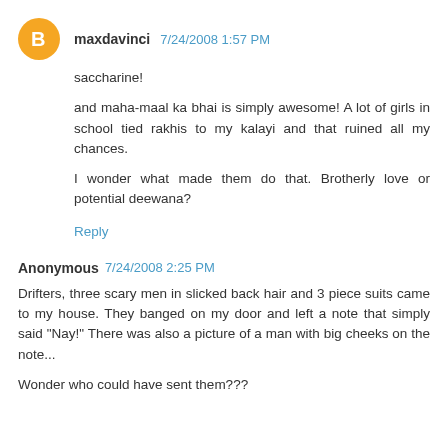[Figure (illustration): Orange circular blogger avatar icon with white 'B' letter]
maxdavinci 7/24/2008 1:57 PM
saccharine!

and maha-maal ka bhai is simply awesome! A lot of girls in school tied rakhis to my kalayi and that ruined all my chances.

I wonder what made them do that. Brotherly love or potential deewana?
Reply
Anonymous 7/24/2008 2:25 PM
Drifters, three scary men in slicked back hair and 3 piece suits came to my house. They banged on my door and left a note that simply said "Nay!" There was also a picture of a man with big cheeks on the note...

Wonder who could have sent them???